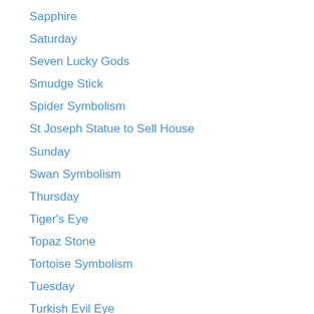Sapphire
Saturday
Seven Lucky Gods
Smudge Stick
Spider Symbolism
St Joseph Statue to Sell House
Sunday
Swan Symbolism
Thursday
Tiger's Eye
Topaz Stone
Tortoise Symbolism
Tuesday
Turkish Evil Eye